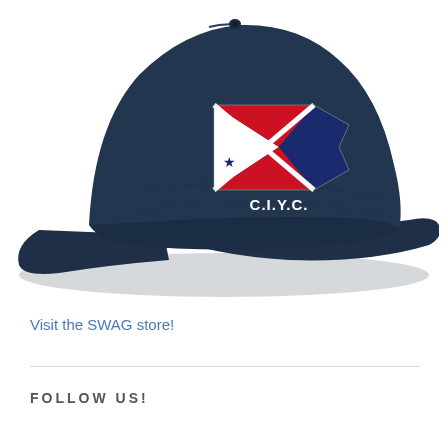[Figure (photo): Navy blue baseball cap with CIYC (C.I.Y.C.) burgee emblem — a triangular pennant flag showing red, white, and dark navy sections with a blue star, and the text C.I.Y.C. embroidered below the flag on the cap's front panel.]
Visit the SWAG store!
FOLLOW US!